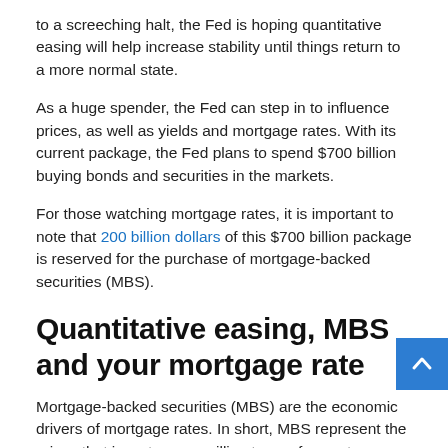to a screeching halt, the Fed is hoping quantitative easing will help increase stability until things return to a more normal state.
As a huge spender, the Fed can step in to influence prices, as well as yields and mortgage rates. With its current package, the Fed plans to spend $700 billion buying bonds and securities in the markets.
For those watching mortgage rates, it is important to note that 200 billion dollars of this $700 billion package is reserved for the purchase of mortgage-backed securities (MBS).
Quantitative easing, MBS and your mortgage rate
Mortgage-backed securities (MBS) are the economic drivers of mortgage rates. In short, MBS represent the prices that investors are willing to pay for mortgages.